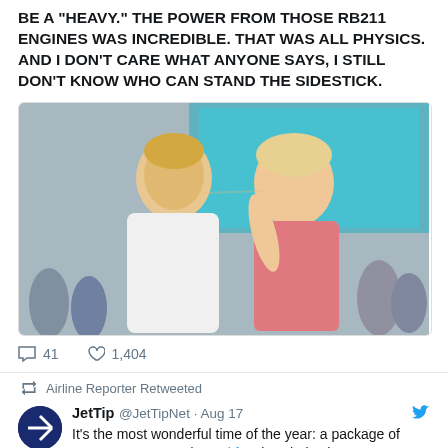BE A "HEAVY." THE POWER FROM THOSE RB211 ENGINES WAS INCREDIBLE. THAT WAS ALL PHYSICS. AND I DON'T CARE WHAT ANYONE SAYS, I STILL DON'T KNOW WHO CAN STAND THE SIDESTICK.
[Figure (photo): Photo of a young man and woman at an outdoor event, appearing to be about to kiss, with crowd in background]
41   1,404
Airline Reporter Retweeted
JetTip @JetTipNet · Aug 17
It's the most wonderful time of the year: a package of #SpotLAX2022 and #Dorkfest keychains has arrived from @spottersinsta and it's about to